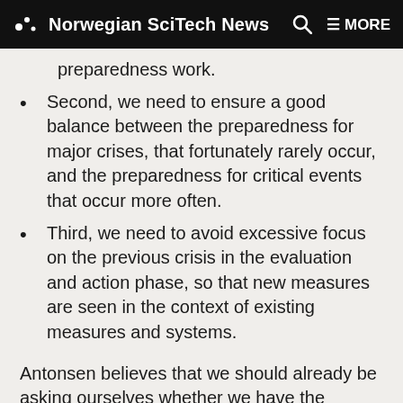Norwegian SciTech News
preparedness work.
Second, we need to ensure a good balance between the preparedness for major crises, that fortunately rarely occur, and the preparedness for critical events that occur more often.
Third, we need to avoid excessive focus on the previous crisis in the evaluation and action phase, so that new measures are seen in the context of existing measures and systems.
Antonsen believes that we should already be asking ourselves whether we have the necessary platform in place for a collective, cross-sectoral evaluation of the corona crisis.